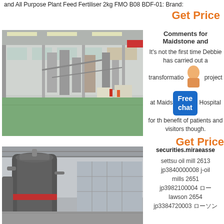and All Purpose Plant Feed Fertiliser 2kg FMO B08 BDF-01: Brand:
Get Price
[Figure (photo): Interior of a large industrial factory or mill facility with green flooring, machinery, conveyors, and workers in safety gear.]
Comments for Maidstone and
It's not the first time Debbie has carried out a transformation project at Maidstone Hospital for the benefit of patients and visitors though.
Get Price
[Figure (photo): Industrial mill or grinding machine inside a large factory warehouse, showing large cylindrical equipment.]
securities.miraeasse
settsu oil mill 2613 jp3840000008 j-oil mills 2651 jp3982100004 ロー lawson 2654 jp3384720003 ローソン